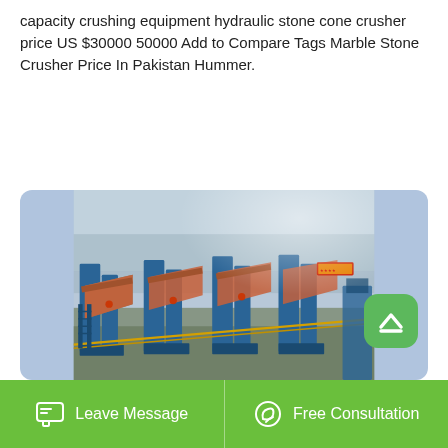capacity crushing equipment hydraulic stone cone crusher price US $30000 50000 Add to Compare Tags Marble Stone Crusher Price In Pakistan Hummer.
[Figure (photo): Aerial view of industrial stone crushing equipment facility with multiple large blue metal hopper/conveyor units with copper/rust-colored top surfaces, arranged in a row at a quarry or industrial site.]
Leave Message   Free Consultation